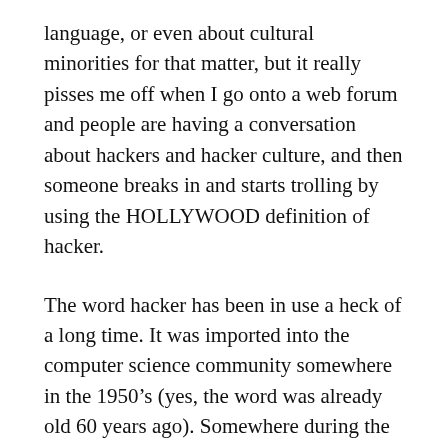language, or even about cultural minorities for that matter, but it really pisses me off when I go onto a web forum and people are having a conversation about hackers and hacker culture, and then someone breaks in and starts trolling by using the HOLLYWOOD definition of hacker.
The word hacker has been in use a heck of a long time. It was imported into the computer science community somewhere in the 1950’s (yes, the word was already old 60 years ago). Somewhere during the 1980’s and 1990’s, Hollywood started making “Hacker” movies, and that is where many people get their meaning of the word.